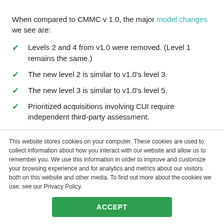When compared to CMMC v 1.0, the major model changes we see are:
Levels 2 and 4 from v1.0 were removed. (Level 1 remains the same.)
The new level 2 is similar to v1.0’s level 3.
The new level 3 is similar to v1.0’s level 5.
Prioritized acquisitions involving CUI require independent third-party assessment.
Non-prioritized acquisitions involving CUI require
This website stores cookies on your computer. These cookies are used to collect information about how you interact with our website and allow us to remember you. We use this information in order to improve and customize your browsing experience and for analytics and metrics about our visitors both on this website and other media. To find out more about the cookies we use, see our Privacy Policy.
ACCEPT